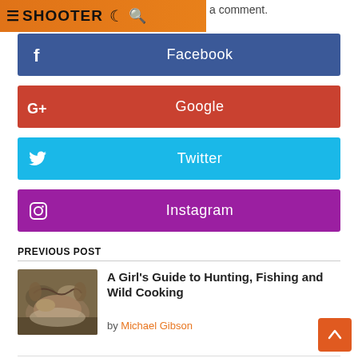SHOOTER
a comment.
Facebook
Google
Twitter
Instagram
PREVIOUS POST
[Figure (photo): Thumbnail photo of a hunted animal on the ground]
A Girl's Guide to Hunting, Fishing and Wild Cooking
by Michael Gibson